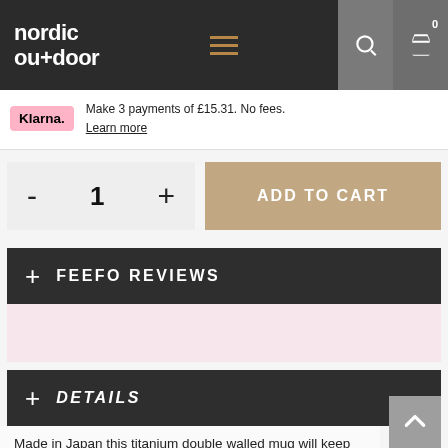nordic out+door
Make 3 payments of £15.31. No fees. Learn more
- 1 + ADD TO CART
+ FEEFO REVIEWS
+ DETAILS
Made in Japan this titanium double walled mug will keep your coffee hot for longer - and it will do so in style.